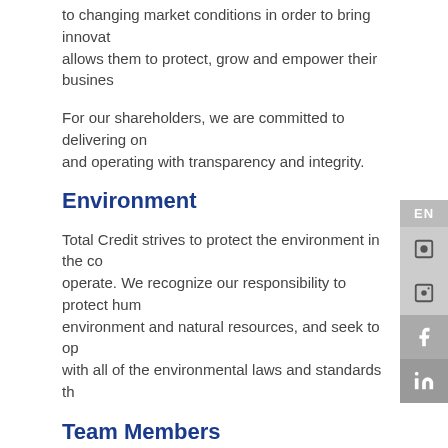to changing market conditions in order to bring innovat… allows them to protect, grow and empower their business…
For our shareholders, we are committed to delivering on… and operating with transparency and integrity.
Environment
Total Credit strives to protect the environment in the co… operate. We recognize our responsibility to protect hum… environment and natural resources, and seek to op… with all of the environmental laws and standards th…
Team Members
People are one of the cornerstones of our business… depends on our ability to attract and develop a dive… men and women. We are committed to providing a w… fosters respect for all team members, customers, s… consultants and other business partners and that r…